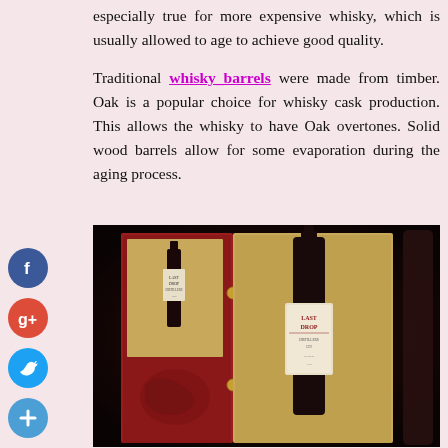especially true for more expensive whisky, which is usually allowed to age to achieve good quality.
Traditional whisky_barrels were made from timber. Oak is a popular choice for whisky cask production. This allows the whisky to have Oak overtones. Solid wood barrels allow for some evaporation during the aging process.
[Figure (photo): A luxury whisky presentation box in red leather, open to reveal a large dark bottle labeled 'Last Drop' with a cream label, and a smaller bottle in the left panel set against a golden background insert. The box sits against a dark background.]